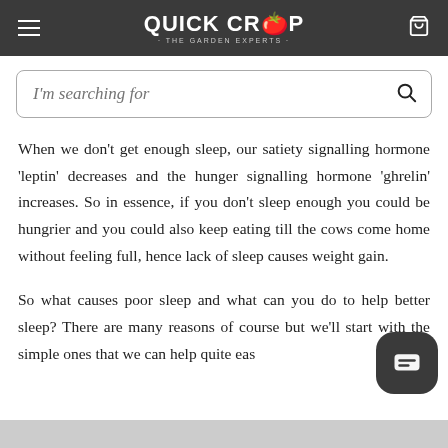QUICKCROP · THE GARDEN EXPERTS ·
I'm searching for
When we don't get enough sleep, our satiety signalling hormone 'leptin' decreases and the hunger signalling hormone 'ghrelin' increases. So in essence, if you don't sleep enough you could be hungrier and you could also keep eating till the cows come home without feeling full, hence lack of sleep causes weight gain.
So what causes poor sleep and what can you do to help better sleep? There are many reasons of course but we'll start with the simple ones that we can help quite easily.